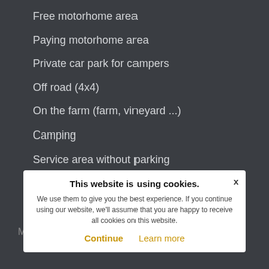Free motorhome area
Paying motorhome area
Private car park for campers
Off road (4x4)
On the farm (farm, vineyard ...)
Camping
Service area without parking
Daily parking lot only
Homestays accommodation
Extra services
MH parking without services
About park4night
Volunteers
p4n
Mentions legales
This website is using cookies. We use them to give you the best experience. If you continue using our website, we'll assume that you are happy to receive all cookies on this website. Continue Learn more